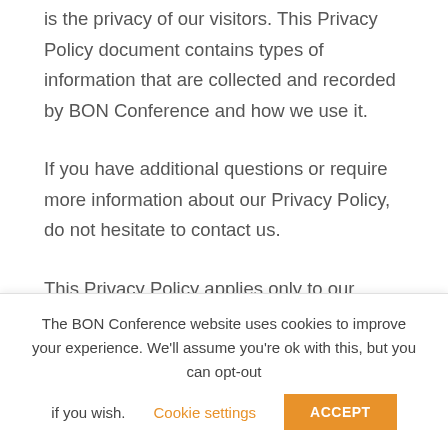is the privacy of our visitors. This Privacy Policy document contains types of information that are collected and recorded by BON Conference and how we use it.
If you have additional questions or require more information about our Privacy Policy, do not hesitate to contact us.
This Privacy Policy applies only to our online
The BON Conference website uses cookies to improve your experience. We'll assume you're ok with this, but you can opt-out if you wish.